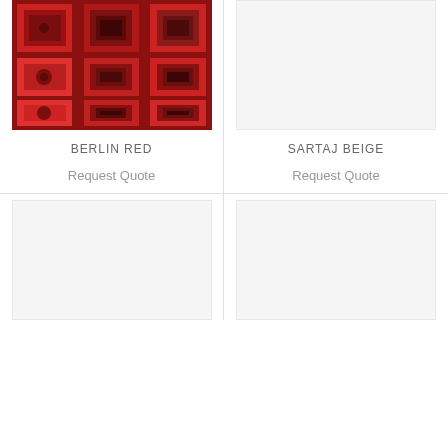[Figure (photo): Red geometric rug with squares pattern - Berlin Red]
[Figure (photo): Empty placeholder image for Sartaj Beige rug]
BERLIN RED
SARTAJ BEIGE
Request Quote
Request Quote
[Figure (photo): Empty placeholder image for third rug product]
[Figure (photo): Empty placeholder image for fourth rug product]